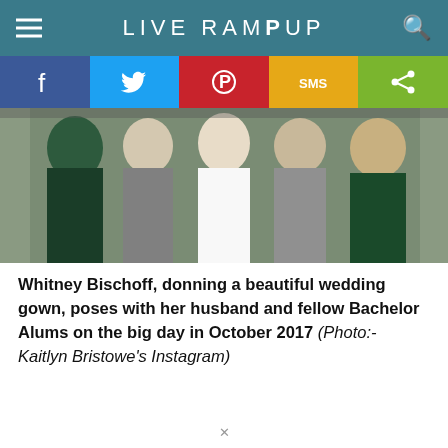LIVE RAMPUP
[Figure (photo): Group photo of Whitney Bischoff in wedding gown with husband and fellow Bachelor Alums seated together, October 2017]
Whitney Bischoff, donning a beautiful wedding gown, poses with her husband and fellow Bachelor Alums on the big day in October 2017 (Photo:- Kaitlyn Bristowe's Instagram)